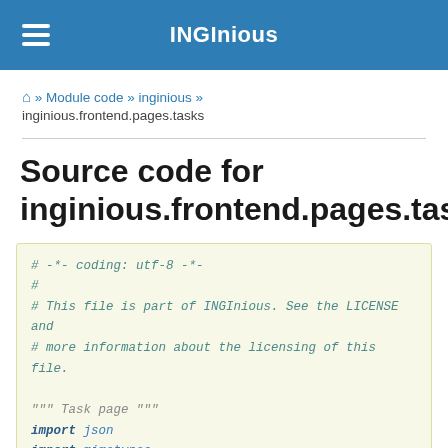INGInious
🏠 » Module code » inginious » inginious.frontend.pages.tasks
Source code for inginious.frontend.pages.tasks
# -*- coding: utf-8 -*-
#
# This file is part of INGInious. See the LICENSE and
# more information about the licensing of this file.

""" Task page """
import json
import mimetypes
import posixpath